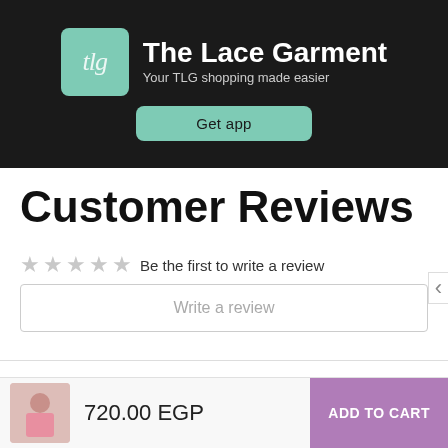[Figure (screenshot): The Lace Garment app banner with logo, brand name, tagline and Get app button on black background]
Customer Reviews
Be the first to write a review
Write a review
RELATED PRODUCTS
720.00 EGP
ADD TO CART